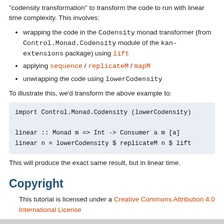"codensity transformation" to transform the code to run with linear time complexity. This involves:
wrapping the code in the Codensity monad transformer (from Control.Monad.Codensity module of the kan-extensions package) using lift
applying sequence / replicateM / mapM
unwrapping the code using lowerCodensity
To illustrate this, we'd transform the above example to:
import Control.Monad.Codensity (lowerCodensity)

linear :: Monad m => Int -> Consumer a m [a]
linear n = lowerCodensity $ replicateM n $ lift
This will produce the exact same result, but in linear time.
Copyright
This tutorial is licensed under a Creative Commons Attribution 4.0 International License